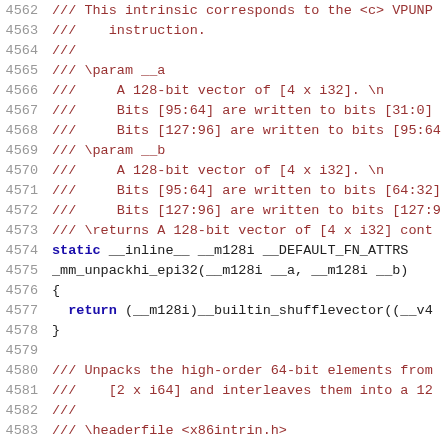Source code listing lines 4562-4583, showing C/C++ intrinsic documentation and implementation for _mm_unpackhi_epi32 and start of _mm_unpackhi_epi64